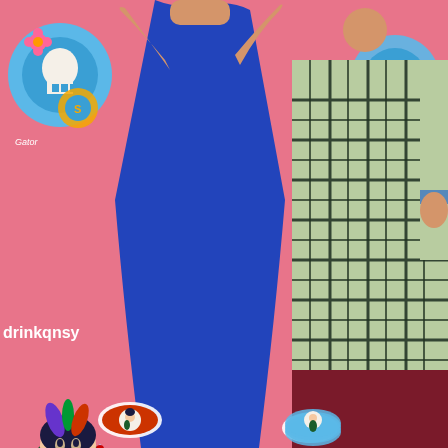[Figure (photo): Two people standing behind a yellow tablecloth-covered table at an event. One person wearing a blue dress with arms raised, the other wearing a green and black plaid shirt and dark red pants. Behind them is a pink step-and-repeat banner with colorful illustrated logos featuring 'drinkqnsy' text and Day of the Dead / vintage tattoo style artwork depicting a woman drinking a cocktail and other decorative elements. On the yellow table surface are some stickers/coasters with similar artwork.]